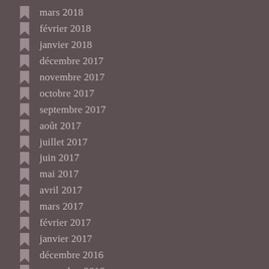mars 2018
février 2018
janvier 2018
décembre 2017
novembre 2017
octobre 2017
septembre 2017
août 2017
juillet 2017
juin 2017
mai 2017
avril 2017
mars 2017
février 2017
janvier 2017
décembre 2016
novembre 2016
octobre 2016